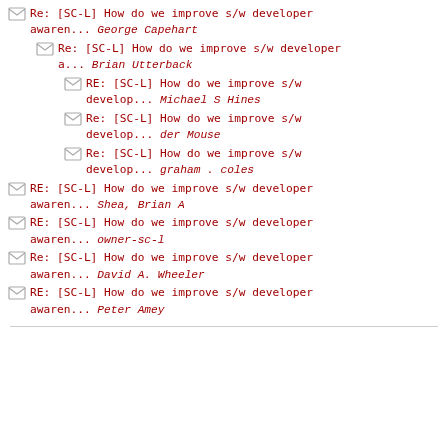Re: [SC-L] How do we improve s/w developer awaren... George Capehart
Re: [SC-L] How do we improve s/w developer a... Brian Utterback
RE: [SC-L] How do we improve s/w develop... Michael S Hines
Re: [SC-L] How do we improve s/w develop... der Mouse
Re: [SC-L] How do we improve s/w develop... graham . coles
RE: [SC-L] How do we improve s/w developer awaren... Shea, Brian A
RE: [SC-L] How do we improve s/w developer awaren... owner-sc-l
Re: [SC-L] How do we improve s/w developer awaren... David A. Wheeler
RE: [SC-L] How do we improve s/w developer awaren... Peter Amey